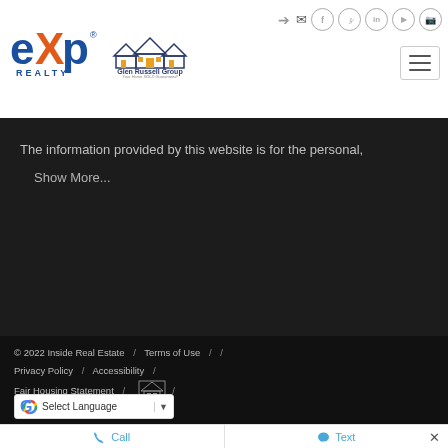[Figure (logo): eXp Realty logo and Glen Russell Group logo in the header]
The information provided by this website is for the personal,
Show More...
© 2022 Inside Real Estate / Terms of Use / Privacy Policy / Accessibility / Fair Housing Statement /
[Figure (other): Google Translate Select Language dropdown]
Call    Text    ×